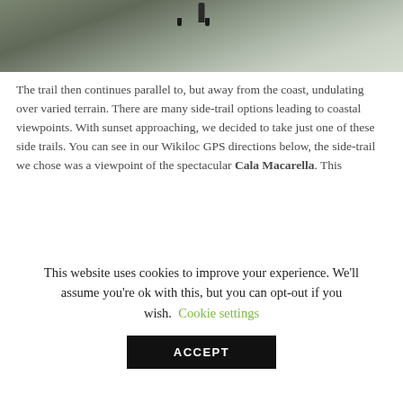[Figure (photo): A person running on a wet reflective trail path, viewed from behind, with muddy water reflecting sky and surroundings. A yellow bar is visible in the top-left corner.]
The trail then continues parallel to, but away from the coast, undulating over varied terrain. There are many side-trail options leading to coastal viewpoints. With sunset approaching, we decided to take just one of these side trails. You can see in our Wikiloc GPS directions below, the side-trail we chose was a viewpoint of the spectacular Cala Macarella. This di...
This website uses cookies to improve your experience. We'll assume you're ok with this, but you can opt-out if you wish. Cookie settings ACCEPT